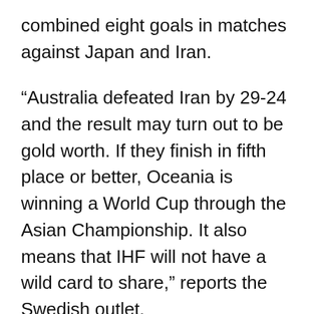combined eight goals in matches against Japan and Iran.
“Australia defeated Iran by 29-24 and the result may turn out to be gold worth. If they finish in fifth place or better, Oceania is winning a World Cup through the Asian Championship. It also means that IHF will not have a wild card to share,” reports the Swedish outlet.
Due to Mouncey’s weight, height, and testosterone levels, he was barred from entering the Australian Football League,